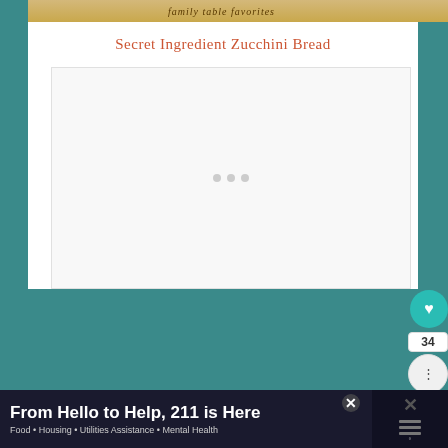[Figure (illustration): Top banner with italic script text 'family table favorites' on a golden/tan gradient background]
Secret Ingredient Zucchini Bread
[Figure (photo): Large white/light gray image placeholder box with three light gray loading dots centered, representing a food photo loading area]
34
[Figure (infographic): Advertisement banner: 'From Hello to Help, 211 is Here' with subtitle 'Food • Housing • Utilities Assistance • Mental Health']